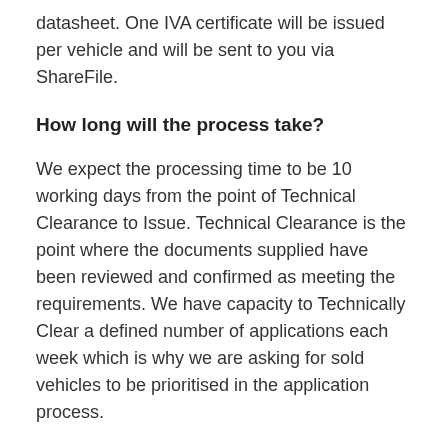datasheet. One IVA certificate will be issued per vehicle and will be sent to you via ShareFile.
How long will the process take?
We expect the processing time to be 10 working days from the point of Technical Clearance to Issue. Technical Clearance is the point where the documents supplied have been reviewed and confirmed as meeting the requirements. We have capacity to Technically Clear a defined number of applications each week which is why we are asking for sold vehicles to be prioritised in the application process.
How much does it cost?
£125 per IVA certificate.
What else do I need to be aware of?